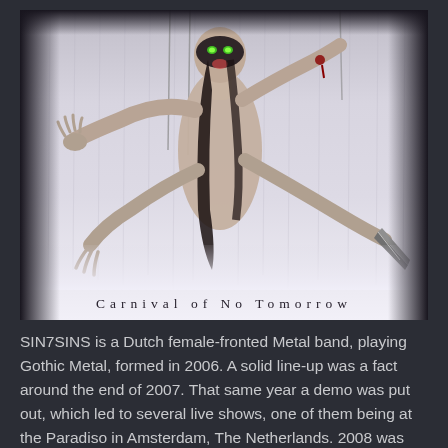[Figure (illustration): Album art for 'Carnival of No Tomorrow' showing a pale multi-armed female figure with a dark mask and green glowing eyes, holding a dagger, set against a misty grey background with rain-like streaks. Text at the bottom reads 'Carnival of No Tomorrow' in spaced serif lettering.]
SIN7SINS is a Dutch female-fronted Metal band, playing Gothic Metal, formed in 2006. A solid line-up was a fact around the end of 2007. That same year a demo was put out, which led to several live shows, one of them being at the Paradiso in Amsterdam, The Netherlands. 2008 was the year the band